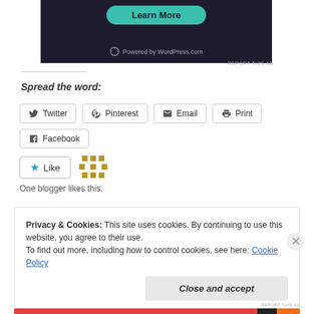[Figure (screenshot): Dark ad banner with 'Learn More' teal button and 'Powered by WordPress.com' text]
REPORT THIS AD
Spread the word:
Twitter  Pinterest  Email  Print  Facebook
[Figure (other): Like button with star icon and blogger avatar grid icon. Text: One blogger likes this.]
One blogger likes this.
Privacy & Cookies: This site uses cookies. By continuing to use this website, you agree to their use.
To find out more, including how to control cookies, see here: Cookie Policy
Close and accept